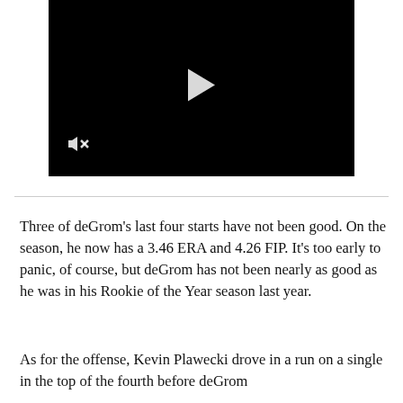[Figure (screenshot): Black video player with a white play button triangle in the center and a muted/unmuted speaker icon in the bottom left corner]
Three of deGrom's last four starts have not been good. On the season, he now has a 3.46 ERA and 4.26 FIP. It's too early to panic, of course, but deGrom has not been nearly as good as he was in his Rookie of the Year season last year.
As for the offense, Kevin Plawecki drove in a run on a single in the top of the fourth before deGrom